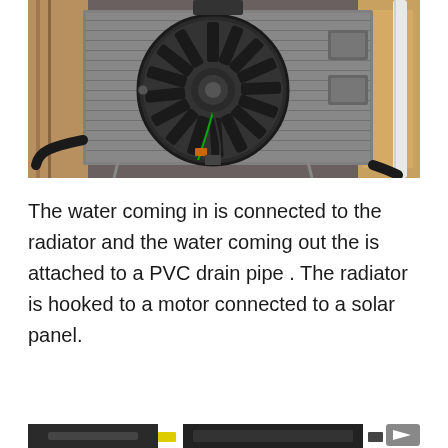[Figure (photo): A vehicle radiator with an electric fan mounted on it, sitting in what appears to be a workshop or garage. Wires hang from the fan motor. The radiator has hoses connected to it. Wooden framing and insulation are visible in the background.]
The water coming in is connected to the radiator and the water coming out the is attached to a PVC drain pipe . The radiator is hooked to a motor connected to a solar panel.
[Figure (photo): Partial view of additional photos at the bottom of the page, partially cropped.]